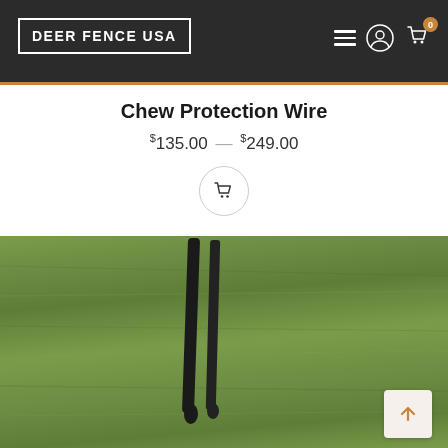DEER FENCE USA — navigation header with hamburger menu, user icon, and cart (0 items)
Chew Protection Wire
$135.00 – $249.00
[Figure (photo): Two black metal fence stakes/rods lying on green grass]
[Figure (other): Shopping cart icon in a circle button]